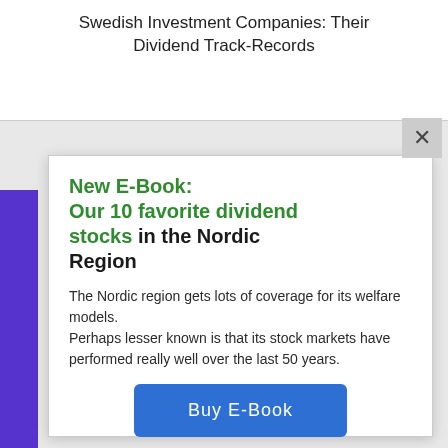Swedish Investment Companies: Their Dividend Track-Records
New E-Book: Our 10 favorite dividend stocks in the Nordic Region
The Nordic region gets lots of coverage for its welfare models.
Perhaps lesser known is that its stock markets have performed really well over the last 50 years.
Buy E-Book